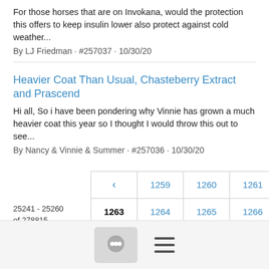For those horses that are on Invokana, would the protection this offers to keep insulin lower also protect against cold weather...
By LJ Friedman · #257037 · 10/30/20
Heavier Coat Than Usual, Chasteberry Extract and Prascend
Hi all, So i have been pondering why Vinnie has grown a much heavier coat this year so I thought I would throw this out to see...
By Nancy & Vinnie & Summer · #257036 · 10/30/20
25241 - 25260 of 278815
| < | 1259 | 1260 | 1261 | 1262 |
| 1263 | 1264 | 1265 | 1266 | 1267 |
| > |  |  |  |  |
[Figure (other): App footer bar with a chat icon button and a hamburger menu icon]